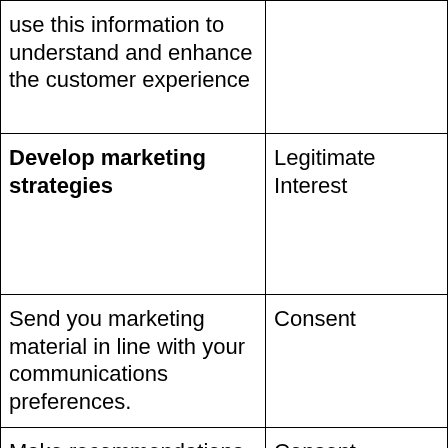| Purpose | Lawful Basis |
| --- | --- |
| use this information to understand and enhance the customer experience |  |
| Develop marketing strategies | Legitimate Interest |
| Send you marketing material in line with your communications preferences. | Consent |
| Make recommendations and personalize your experience. | Consent |